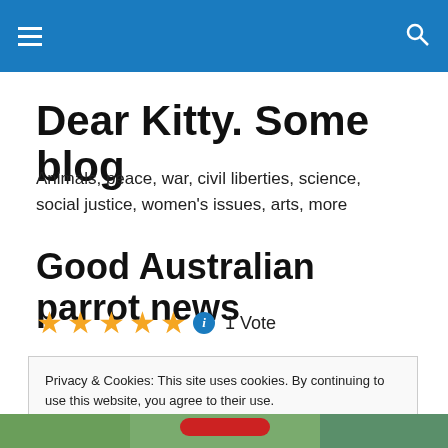☰ [menu] [search]
Dear Kitty. Some blog
Animals, peace, war, civil liberties, science, social justice, women's issues, arts, more
Good Australian parrot news
★★★★★ ℹ 1 Vote
Privacy & Cookies: This site uses cookies. By continuing to use this website, you agree to their use.
To find out more, including how to control cookies, see here: Cookie Policy
Close and accept
[Figure (photo): Bottom portion of an image, likely showing a parrot or outdoor scene with green and red elements]